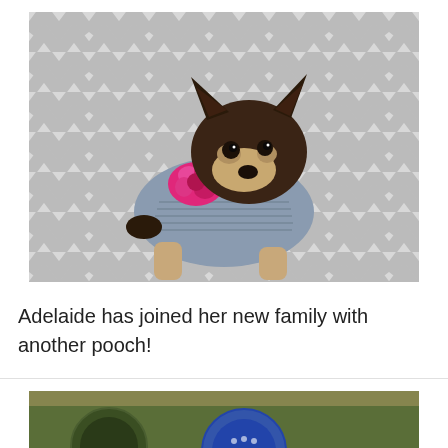[Figure (photo): A small Chihuahua puppy wearing a grey knitted sweater with a pink flower detail, sitting on a grey and white chevron patterned background.]
Adelaide has joined her new family with another pooch!
[Figure (photo): Partial view of a second photo at the bottom of the page, appears to show food or objects on a table.]